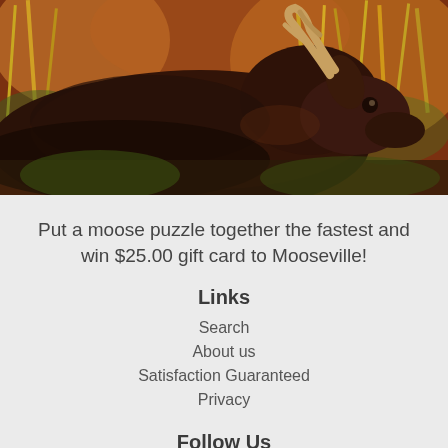[Figure (photo): Painting of a moose with large antlers resting in autumn foliage with orange and golden grasses and plants in the background.]
Put a moose puzzle together the fastest and win $25.00 gift card to Mooseville!
Links
Search
About us
Satisfaction Guaranteed
Privacy
Follow Us
[Figure (logo): Facebook logo icon — white letter f on dark gray/charcoal rounded square background.]